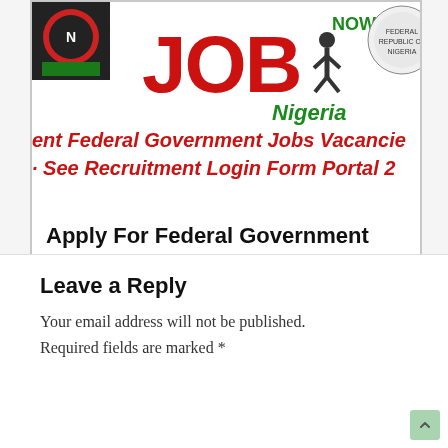[Figure (illustration): Banner image showing 'JOB Nigeria' text in bold red letters with a small human figure, logos on left and right corners, green text reading 'NOW', and red italic text 'ent Federal Government Jobs Vacancie' and '· See Recruitment Login Form Portal 2' visible as cropped banner]
Apply For Federal Government Business Grants in Nigeria 2022
Leave a Reply
Your email address will not be published.
Required fields are marked *